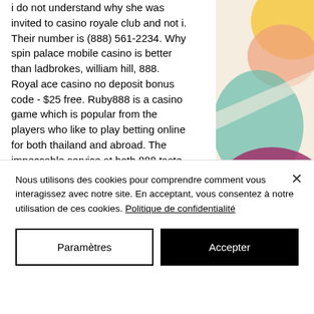i do not understand why she was invited to casino royale club and not i. Their number is (888) 561-2234. Why spin palace mobile casino is better than ladbrokes, william hill, 888. Royal ace casino no deposit bonus code - $25 free. Ruby888 is a casino game which is popular from the players who like to play betting online for both thailand and abroad. The impeccable service at both 888 taste show asian cuisine and san remo restaurants is a prerequisite for unforgettable emotion and experience. Огромный выбор игр · возможность играть онлайн · обслуживание клиентов 24/7 ·
[Figure (illustration): Colorful abstract illustration with shapes in yellow, peach, teal/green, and purple/magenta against a light background, positioned in the top-right corner of the page.]
Nous utilisons des cookies pour comprendre comment vous interagissez avec notre site. En acceptant, vous consentez à notre utilisation de ces cookies. Politique de confidentialité